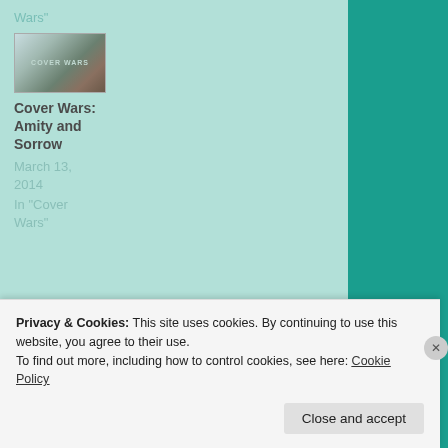Wars"
[Figure (photo): Thumbnail image of book cover for Cover Wars: Amity and Sorrow]
Cover Wars: Amity and Sorrow
March 13, 2014
In "Cover Wars"
9 COMMENTS
Privacy & Cookies: This site uses cookies. By continuing to use this website, you agree to their use.
To find out more, including how to control cookies, see here: Cookie Policy
Close and accept